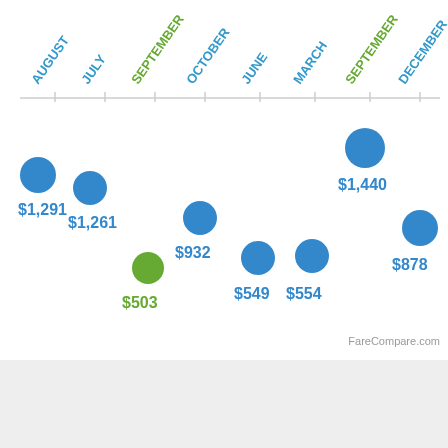[Figure (scatter-plot): Flight prices by month]
FareCompare.com
Cheap Last Minute Flights